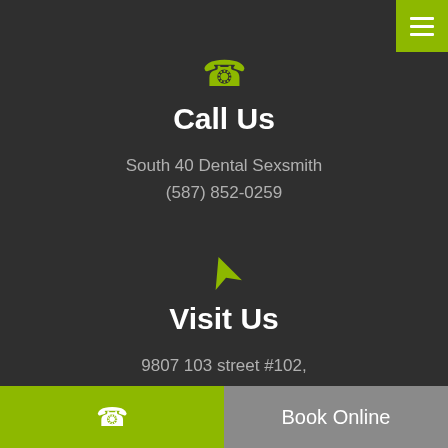[Figure (other): Hamburger menu button with three white bars on olive/green background, top right corner]
[Figure (other): Yellow-green phone icon]
Call Us
South 40 Dental Sexsmith
(587) 852-0259
[Figure (other): Yellow-green navigation/location arrow icon]
Visit Us
9807 103 street #102,
Sexsmith, AB T0H 3C0 CA
[Figure (other): Bottom bar with olive/green phone button on left and gray Book Online button on right]